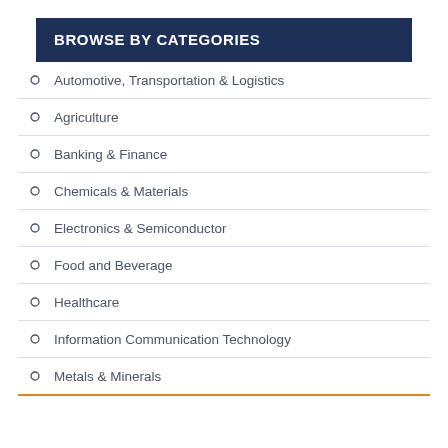BROWSE BY CATEGORIES
Automotive, Transportation & Logistics
Agriculture
Banking & Finance
Chemicals & Materials
Electronics & Semiconductor
Food and Beverage
Healthcare
Information Communication Technology
Metals & Minerals